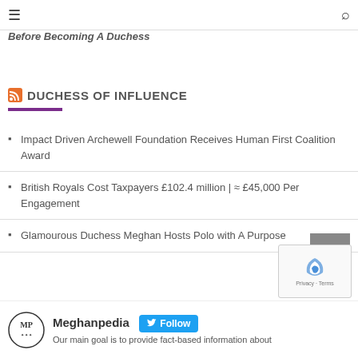☰ [hamburger menu] [search icon]
Before Becoming A Duchess
DUCHESS OF INFLUENCE
Impact Driven Archewell Foundation Receives Human First Coalition Award
British Royals Cost Taxpayers £102.4 million | ≈ £45,000 Per Engagement
Glamourous Duchess Meghan Hosts Polo with A Purpose
Meghanpedia Follow Our main goal is to provide fact-based information about